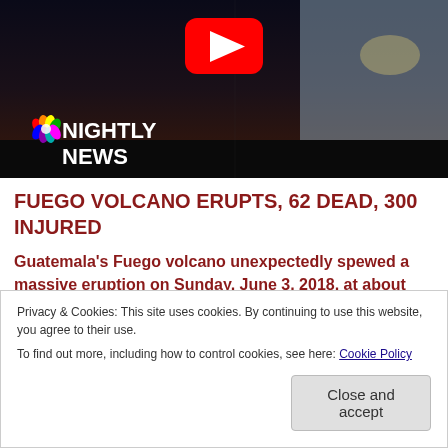[Figure (screenshot): NBC Nightly News video thumbnail showing a dark volcanic silhouette with a YouTube play button overlay and NBC News logo in the lower left]
FUEGO VOLCANO ERUPTS, 62 DEAD, 300 INJURED
Guatemala's Fuego volcano unexpectedly spewed a massive eruption on Sunday, June 3, 2018, at about 16:00 UTC. Volcanic ash billowed more than 32,000 feet, with lava and pyroclastic flows.
Privacy & Cookies: This site uses cookies. By continuing to use this website, you agree to their use.
To find out more, including how to control cookies, see here: Cookie Policy
Close and accept